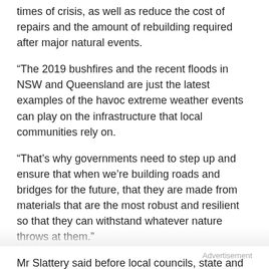times of crisis, as well as reduce the cost of repairs and the amount of rebuilding required after major natural events.
“The 2019 bushfires and the recent floods in NSW and Queensland are just the latest examples of the havoc extreme weather events can play on the infrastructure that local communities rely on.
“That’s why governments need to step up and ensure that when we’re building roads and bridges for the future, that they are made from materials that are the most robust and resilient so that they can withstand whatever nature throws at them.”
Mr Slattery said before local councils, state and federal governments signed off on infrastructure projects, they
Advertisement